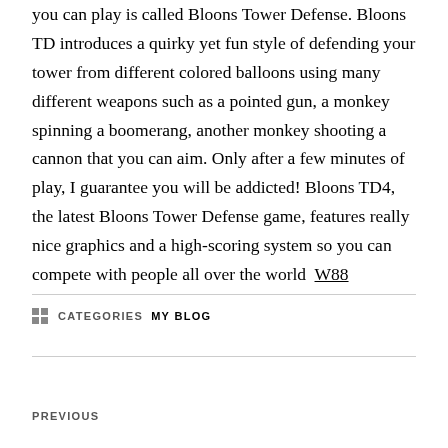you can play is called Bloons Tower Defense. Bloons TD introduces a quirky yet fun style of defending your tower from different colored balloons using many different weapons such as a pointed gun, a monkey spinning a boomerang, another monkey shooting a cannon that you can aim. Only after a few minutes of play, I guarantee you will be addicted! Bloons TD4, the latest Bloons Tower Defense game, features really nice graphics and a high-scoring system so you can compete with people all over the world  W88
CATEGORIES  MY BLOG
PREVIOUS